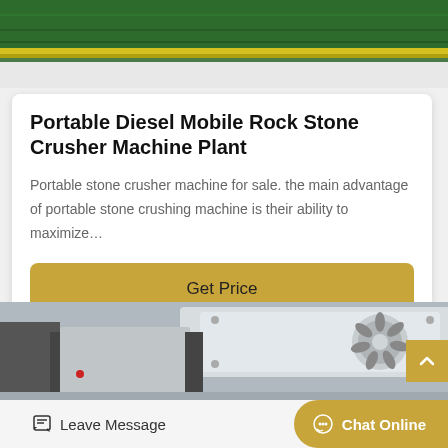[Figure (photo): Top portion of industrial machinery with green and yellow painted surfaces visible at top]
Portable Diesel Mobile Rock Stone Crusher Machine Plant
Portable stone crusher machine for sale. the main advantage of portable stone crushing machine is their ability to maximize…
Get Price
[Figure (photo): Industrial rock stone crusher machine equipment, white/grey metal machinery with fan/motor component visible, photographed at ground level]
Leave Message
Chat Online